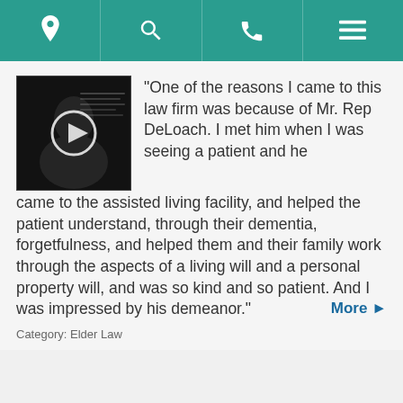Navigation bar with location, search, phone, and menu icons
[Figure (screenshot): Video thumbnail showing a person with a circular play button overlay]
"One of the reasons I came to this law firm was because of Mr. Rep DeLoach. I met him when I was seeing a patient and he came to the assisted living facility, and helped the patient understand, through their dementia, forgetfulness, and helped them and their family work through the aspects of a living will and a personal property will, and was so kind and so patient. And I was impressed by his demeanor." More ▶
Category: Elder Law